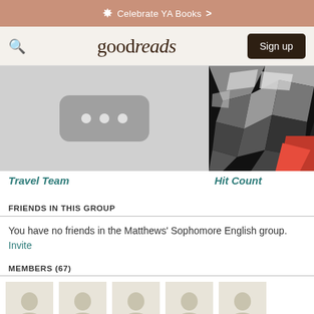Celebrate YA Books >
goodreads  Sign up
[Figure (photo): Book cover placeholder image for Travel Team — grey rectangle with three dots]
[Figure (photo): Book cover image for Hit Count — dark image with shattered fragments and red accents]
Travel Team
Hit Count
FRIENDS IN THIS GROUP
You have no friends in the Matthews' Sophomore English group. Invite
MEMBERS (67)
[Figure (illustration): Row of member avatar placeholder silhouettes on beige background]